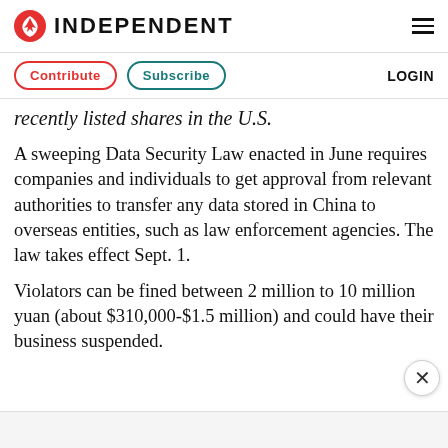INDEPENDENT
Contribute  Subscribe  LOGIN
recently listed shares in the U.S.
A sweeping Data Security Law enacted in June requires companies and individuals to get approval from relevant authorities to transfer any data stored in China to overseas entities, such as law enforcement agencies. The law takes effect Sept. 1.
Violators can be fined between 2 million to 10 million yuan (about $310,000-$1.5 million) and could have their business suspended.